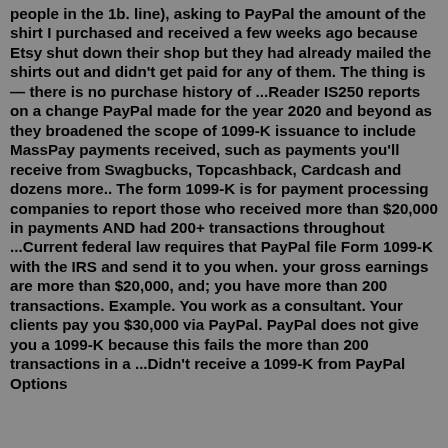people in the 1b. line), asking to PayPal the amount of the shirt I purchased and received a few weeks ago because Etsy shut down their shop but they had already mailed the shirts out and didn't get paid for any of them. The thing is — there is no purchase history of ...Reader IS250 reports on a change PayPal made for the year 2020 and beyond as they broadened the scope of 1099-K issuance to include MassPay payments received, such as payments you'll receive from Swagbucks, Topcashback, Cardcash and dozens more.. The form 1099-K is for payment processing companies to report those who received more than $20,000 in payments AND had 200+ transactions throughout ...Current federal law requires that PayPal file Form 1099-K with the IRS and send it to you when. your gross earnings are more than $20,000, and; you have more than 200 transactions. Example. You work as a consultant. Your clients pay you $30,000 via PayPal. PayPal does not give you a 1099-K because this fails the more than 200 transactions in a ...Didn't receive a 1099-K from PayPal Options